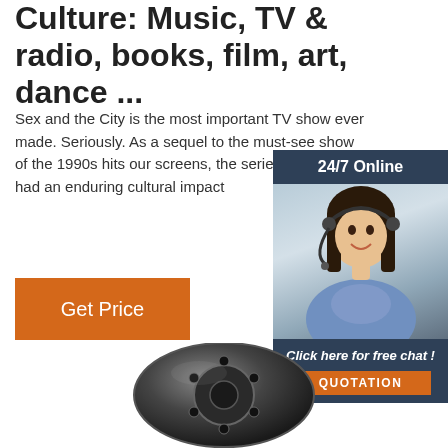Culture: Music, TV & radio, books, film, art, dance ...
Sex and the City is the most important TV show ever made. Seriously. As a sequel to the must-see show of the 1990s hits our screens, the series has always had an enduring cultural impact
[Figure (other): Orange button labeled Get Price]
[Figure (other): Advertisement banner with 24/7 Online header, photo of a woman wearing a headset smiling, dark blue background, text Click here for free chat! and orange QUOTATION button]
[Figure (other): Black cylindrical mechanical component photographed from the front]